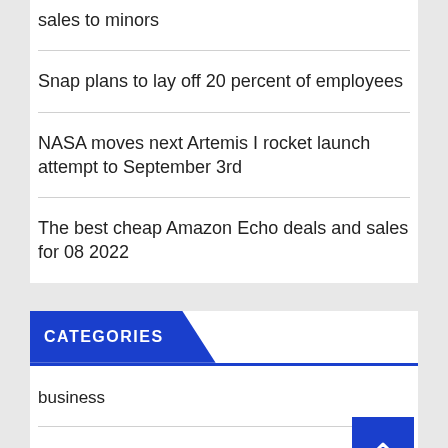sales to minors
Snap plans to lay off 20 percent of employees
NASA moves next Artemis I rocket launch attempt to September 3rd
The best cheap Amazon Echo deals and sales for 08 2022
CATEGORIES
business
Entertainment